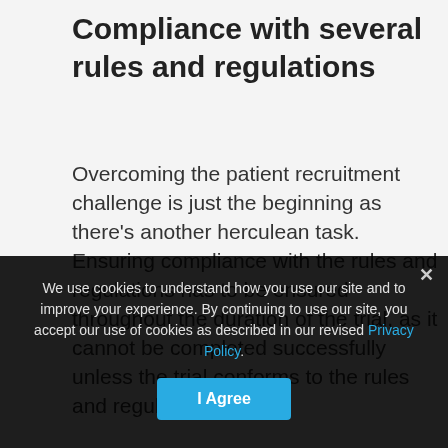Compliance with several rules and regulations
Overcoming the patient recruitment challenge is just the beginning as there’s another herculean task. Ensuring compliance with the rules and regulations has to be ensured throughout the duration of the trial, as it cannot be completed successfully unless the trial conforms to the rules and regulations to a T.
Since trials of all forms have entities involved such as drugs, biologics, devices, etc., you need to ensure compliance with their regulations, ensure patient safety as well as maintaining ethics of the trials. Usual institutional review boards (IRBs) have to approve the
We use cookies to understand how you use our site and to improve your experience. By continuing to use our site, you accept our use of cookies as described in our revised Privacy Policy.